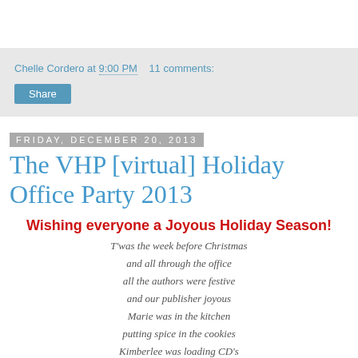Chelle Cordero at 9:00 PM   11 comments:
Share
Friday, December 20, 2013
The VHP [virtual] Holiday Office Party 2013
Wishing everyone a Joyous Holiday Season!
T'was the week before Christmas
and all through the office
all the authors were festive
and our publisher joyous
Marie was in the kitchen
putting spice in the cookies
Kimberlee was loading CD's
filled with holiday tunes